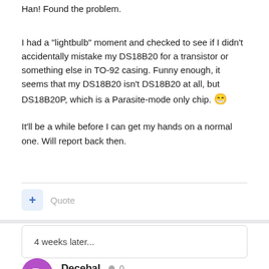Han! Found the problem.
I had a "lightbulb" moment and checked to see if I didn't accidentally mistake my DS18B20 for a transistor or something else in TO-92 casing. Funny enough, it seems that my DS18B20 isn't DS18B20 at all, but DS18B20P, which is a Parasite-mode only chip. 😁
It'll be a while before I can get my hands on a normal one. Will report back then.
4 weeks later...
DecebaL • 0
Posted February 28, 2012